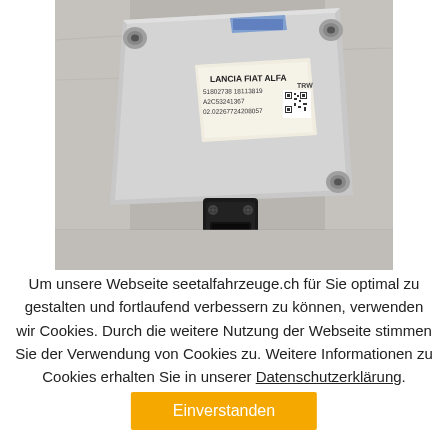[Figure (photo): A silver electronic sensor module labeled 'LANCIA FIAT ALFA' with part numbers 51802738, 18113819, A2C53241367, 02.02267724208057 and a QR code, with a black plastic connector at the bottom, placed on a grey concrete surface.]
Um unsere Webseite seetalfahrzeuge.ch für Sie optimal zu gestalten und fortlaufend verbessern zu können, verwenden wir Cookies. Durch die weitere Nutzung der Webseite stimmen Sie der Verwendung von Cookies zu. Weitere Informationen zu Cookies erhalten Sie in unserer Datenschutzerklärung.
Einverstanden